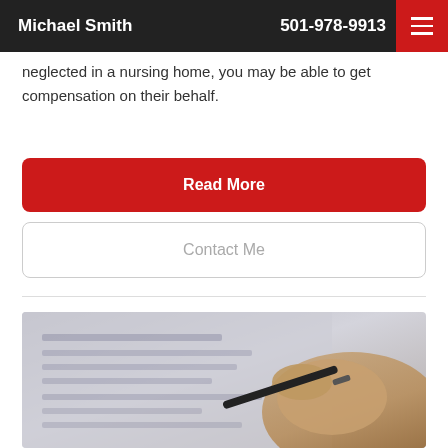Michael Smith   501-978-9913
neglected in a nursing home, you may be able to get compensation on their behalf.
Read More
Contact Me
[Figure (photo): Close-up photo of a person's hand holding a pen and signing/writing on a document with printed text]